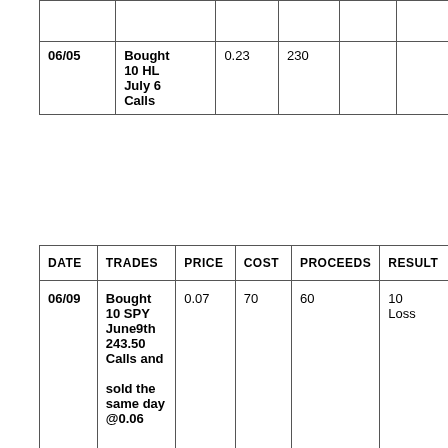| DATE | TRADES | PRICE | COST | PROCEEDS | RESULT |
| --- | --- | --- | --- | --- | --- |
| 06/05 | Bought 10 HL July 6 Calls | 0.23 | 230 |  |  |
| DATE | TRADES | PRICE | COST | PROCEEDS | RESULT |
| --- | --- | --- | --- | --- | --- |
| 06/09 | Bought 10 SPY June9th 243.50 Calls and sold the same day @0.06 | 0.07 | 70 | 60 | 10 Loss |